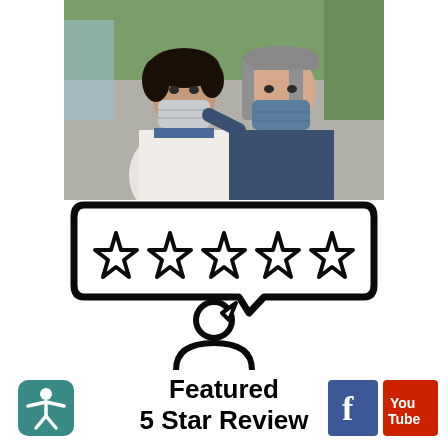[Figure (photo): Two women wearing face masks posing together. Left person wears a white medical coat, right person wears dark navy blue scrubs. Background shows greenery/trees.]
[Figure (illustration): Review icon graphic: a speech bubble containing 5 outlined stars, with a person/user silhouette below with another small speech bubble, all in black outline style on white background.]
Featured 5 Star Review
[Figure (logo): Teal rounded square with white accessibility person icon (stick figure with arms out)]
[Figure (logo): Blue square with white lowercase f Facebook logo]
[Figure (logo): Red rectangle with white 'You' text above 'Tube' text, YouTube logo style]